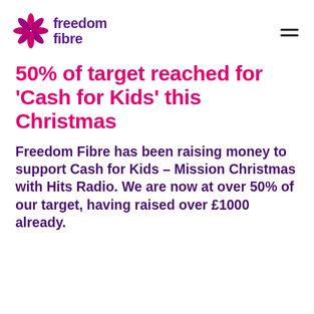[Figure (logo): Freedom Fibre logo: purple flower/pinwheel icon with 'freedom fibre' text in purple]
50% of target reached for ‘Cash for Kids’ this Christmas
Freedom Fibre has been raising money to support Cash for Kids – Mission Christmas with Hits Radio. We are now at over 50% of our target, having raised over £1000 already.